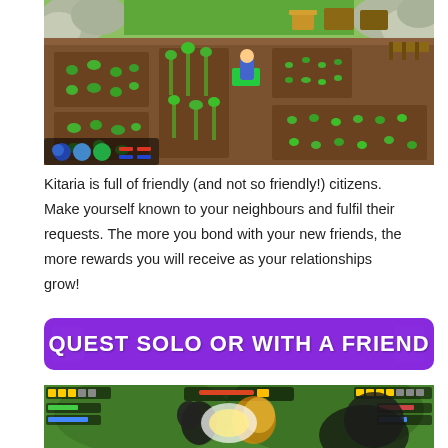[Figure (screenshot): Overhead isometric view of a farm in the game Kitaria Fables, showing crop plots with green plants growing in brown soil, a player character in the middle, chests and structures, rocky terrain and green grass in the background, with UI elements at the bottom left.]
Kitaria is full of friendly (and not so friendly!) citizens. Make yourself known to your neighbours and fulfil their requests. The more you bond with your new friends, the more rewards you will receive as your relationships grow!
[Figure (infographic): Purple banner with bold white uppercase text reading: QUEST SOLO OR WITH A FRIEND]
[Figure (screenshot): Bottom portion of a gameplay screenshot showing two players in combat, with action effects, UI overlays including health bars and minimap at the top, against a green terrain background.]